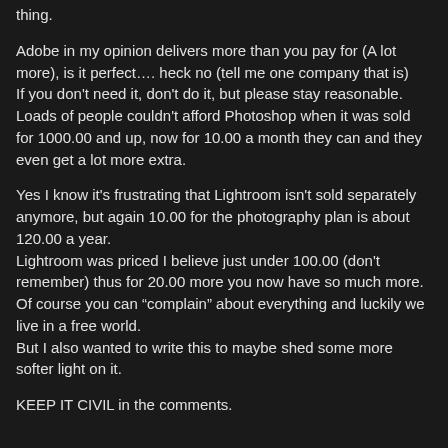thing.
Adobe in my opinion delivers more than you pay for (A lot more), is it perfect…. heck no (tell me one company that is)
If you don't need it, don't do it, but please stay reasonable.
Loads of people couldn't afford Photoshop when it was sold for 1000.00 and up, now for 10.00 a month they can and they even get a lot more extra.
Yes I know it's frustrating that Lightroom isn't sold separately anymore, but again 10.00 for the photography plan is about 120.00 a year.
Lightroom was priced I believe just under 100.00 (don't remember) thus for 20.00 more you now have so much more.
Of course you can "complain" about everything and luckily we live in a free world.
But I also wanted to write this to maybe shed some more softer light on it.
KEEP IT CIVIL in the comments.